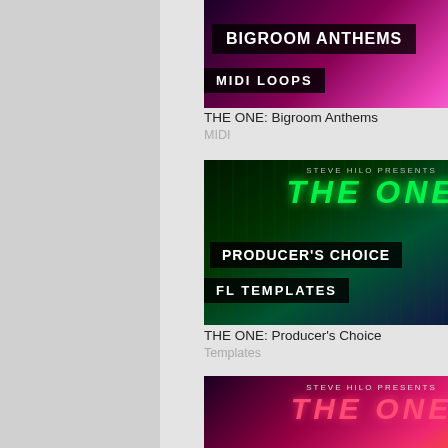[Figure (illustration): THE ONE: Bigroom Anthems MIDI Loops product cover art - dark purple/magenta background with text labels]
THE ONE: Bigroom Anthems
MIDI
[Figure (illustration): THE ONE: Producer's Choice FL Templates product cover art - dark green background with metallic slats and glowing green THE ONE text]
THE ONE: Producer's Choice
Templates
[Figure (illustration): THE ONE: Bounce Melodies MIDI Loops product cover art - dark magenta/orange background with glowing pink THE ONE text]